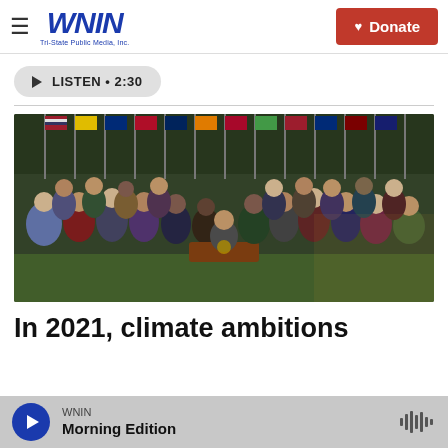WNIN Tri-State Public Media, Inc.
LISTEN • 2:30
[Figure (photo): President Biden signing legislation at a desk outdoors on the White House lawn, surrounded by a large crowd of applauding officials and legislators with American and state flags visible in the background.]
In 2021, climate ambitions
WNIN Morning Edition